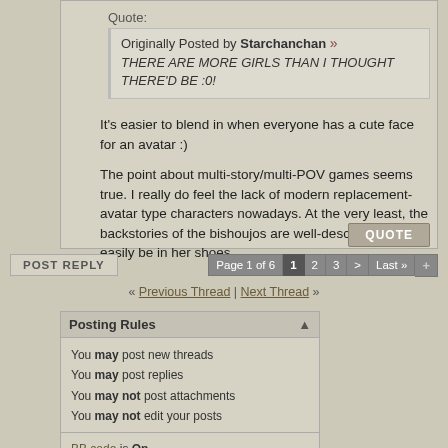Quote: Originally Posted by Starchanchan » THERE ARE MORE GIRLS THAN I THOUGHT THERE'D BE :0!
It's easier to blend in when everyone has a cute face for an avatar :)
The point about multi-story/multi-POV games seems true. I really do feel the lack of modern replacement-avatar type characters nowadays. At the very least, the backstories of the bishoujos are well-described to easily be in her shoes.
POST REPLY   Page 1 of 6  1  2  3  >  Last »  +
« Previous Thread | Next Thread »
Posting Rules
You may post new threads
You may post replies
You may not post attachments
You may not edit your posts
BB code is On
Smilies are On